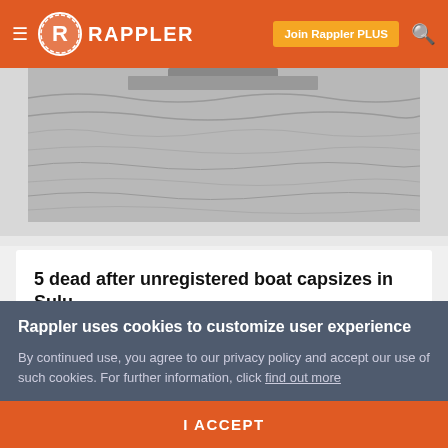Rappler — Join Rappler PLUS
[Figure (photo): Grayscale photo of water/ocean surface, partially visible at top of page]
5 dead after unregistered boat capsizes in Sulu
Apr 03, 2015 - 9:19 AM
The boat MPB Wilayza is unregistered and reportedly overloaded with bags of cement iron bars and at least 50 passengers
Rappler uses cookies to customize user experience
By continued use, you agree to our privacy policy and accept our use of such cookies. For further information, click find out more
I ACCEPT